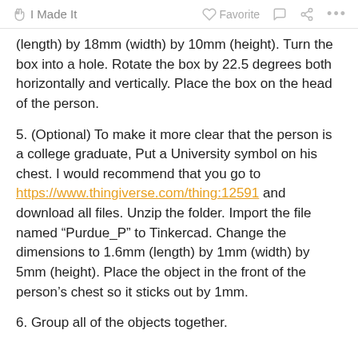I Made It   Favorite   ...
(length) by 18mm (width) by 10mm (height). Turn the box into a hole. Rotate the box by 22.5 degrees both horizontally and vertically. Place the box on the head of the person.
5. (Optional) To make it more clear that the person is a college graduate, Put a University symbol on his chest. I would recommend that you go to https://www.thingiverse.com/thing:12591 and download all files. Unzip the folder. Import the file named “Purdue_P” to Tinkercad. Change the dimensions to 1.6mm (length) by 1mm (width) by 5mm (height). Place the object in the front of the person’s chest so it sticks out by 1mm.
6. Group all of the objects together.